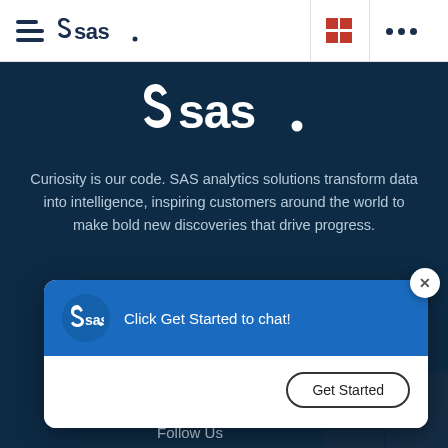[Figure (screenshot): SAS website screenshot showing navigation bar with hamburger menu, SAS logo, grid icon and dots menu on right side; dark blue background with large white SAS logo centered, tagline text, and a chat popup overlay with 'Click Get Started to chat!' message and a 'Get Started' button; Contact Us and Follow Us at bottom]
Curiosity is our code. SAS analytics solutions transform data into intelligence, inspiring customers around the world to make bold new discoveries that drive progress.
Click Get Started to chat!
Get Started
Contact Us
Follow Us